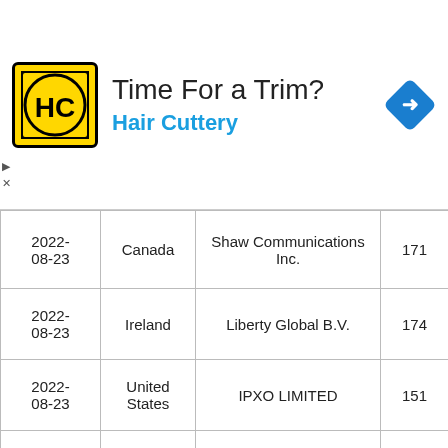[Figure (other): Advertisement banner for Hair Cuttery: logo with HC initials on yellow background, headline 'Time For a Trim?', subtitle 'Hair Cuttery' in blue, navigation arrow icon in blue diamond shape on right.]
| Date | Country | Organization | Count |
| --- | --- | --- | --- |
| 2022-08-23 | Canada | Shaw Communications Inc. | 171 |
| 2022-08-23 | Ireland | Liberty Global B.V. | 174 |
| 2022-08-23 | United States | IPXO LIMITED | 151 |
| 2022-08-23 | India | AIRNTE WIFI SERVICES OPC PVT LTD | 316 |
| 2022-08-23 | India | TATA Communications formerly VSNL is Leading ISP | 568 |